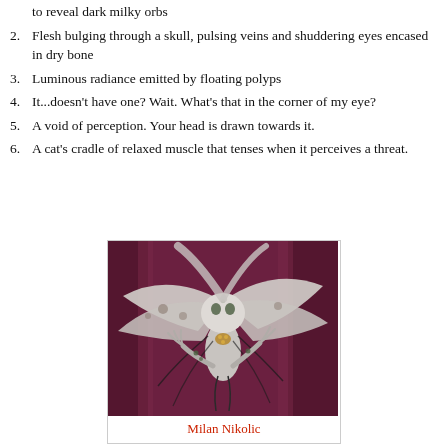to reveal dark milky orbs
2. Flesh bulging through a skull, pulsing veins and shuddering eyes encased in dry bone
3. Luminous radiance emitted by floating polyps
4. It...doesn't have one? Wait. What's that in the corner of my eye?
5. A void of perception. Your head is drawn towards it.
6. A cat's cradle of relaxed muscle that tenses when it perceives a threat.
[Figure (illustration): Fantasy creature art by Milan Nikolic: a pale winged humanoid monster with skull-like face, spread wings, and dark tendrils against a dark red/maroon curtain background]
Milan Nikolic